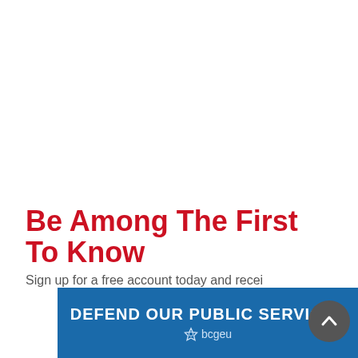Be Among The First To Know
Sign up for a free account today and receive...
[Figure (logo): BCGEU banner ad: blue rectangle with white bold text 'DEFEND OUR PUBLIC SERVICES' and bcgeu star logo below]
[Figure (other): Dark grey circular scroll-to-top button with white upward chevron arrow]